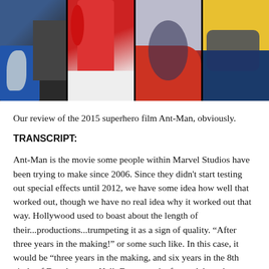[Figure (illustration): Comic book style panel collage showing four side-by-side panels: first with blue-costumed figure, second with red-costumed figure (Ant-Man suit), third with dark/red background figure, fourth with yellow and blue costumed figure. Black background borders the panels.]
Our review of the 2015 superhero film Ant-Man, obviously.
TRANSCRIPT:
Ant-Man is the movie some people within Marvel Studios have been trying to make since 2006. Since they didn't start testing out special effects until 2012, we have some idea how well that worked out, though we have no real idea why it worked out that way. Hollywood used to boast about the length of their...productions...trumpeting it as a sign of quality. “After three years in the making!” or some such like. In this case, it would be “three years in the making, and six years in the 8th circle of Development Hell. Down on the frozen lake, where Satan sits, eternally chewing on all the Don Quixote